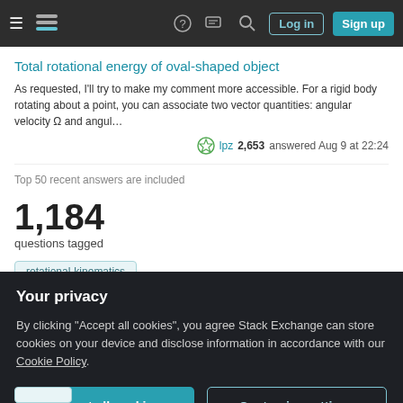Stack Exchange navigation bar with hamburger menu, logo, help, chat, search icons, Log in and Sign up buttons
Total rotational energy of oval-shaped object
As requested, I'll try to make my comment more accessible. For a rigid body rotating about a point, you can associate two vector quantities: angular velocity Ω and angul…
lpz 2,653 answered Aug 9 at 22:24
Top 50 recent answers are included
1,184
questions tagged
rotational-kinematics
Related Tags
Your privacy
By clicking "Accept all cookies", you agree Stack Exchange can store cookies on your device and disclose information in accordance with our Cookie Policy.
Accept all cookies
Customize settings